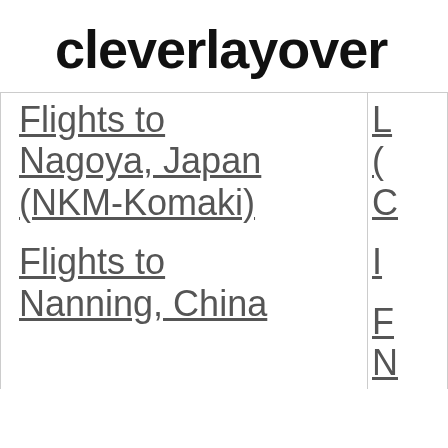cleverlayover
Flights to Nagoya, Japan (NKM-Komaki)
Flights to Nanning, China